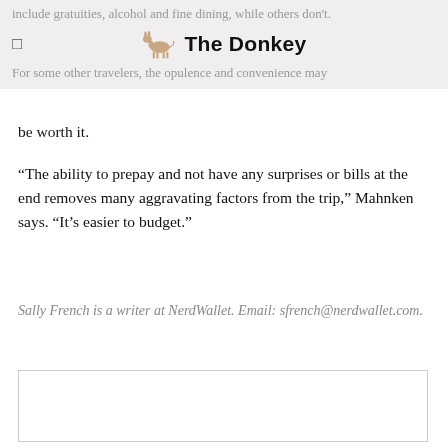include gratuities, alcohol and fine dining, while others don't.
The Donkey
For some other travelers, the opulence and convenience may be worth it.
“The ability to prepay and not have any surprises or bills at the end removes many aggravating factors from the trip,” Mahnken says. “It’s easier to budget.”
Sally French is a writer at NerdWallet. Email: sfrench@nerdwallet.com.
[Figure (other): Empty advertisement or content box with border]